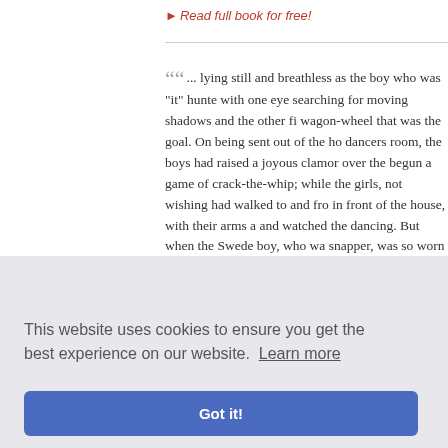▸ Read full book for free!
"... lying still and breathless as the boy who was "it" hunted, with one eye searching for moving shadows and the other fixed on the wagon-wheel that was the goal. On being sent out of the house by the dancers room, the boys had raised a joyous clamor over there and begun a game of crack-the-whip; while the girls, not wishing to join, had walked to and fro in front of the house, with their arms about, and watched the dancing. But when the Swede boy, who was the snapper, was so worn and ..."
— The Biography of a Prairie Girl • Eleanor Gates
▸ Read full book for free!
This website uses cookies to ensure you get the best experience on our website. Learn more
Got it!